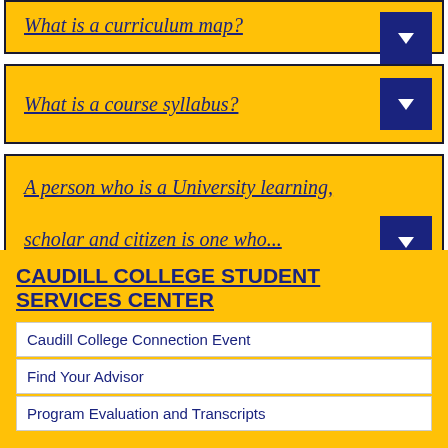What is a curriculum map?
What is a course syllabus?
A person who is a University learning, scholar and citizen is one who...
CAUDILL COLLEGE STUDENT SERVICES CENTER
Caudill College Connection Event
Find Your Advisor
Program Evaluation and Transcripts